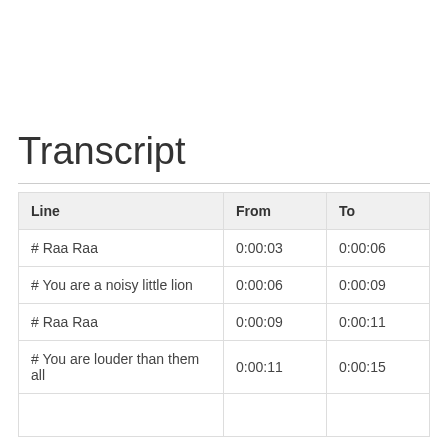Transcript
| Line | From | To |
| --- | --- | --- |
| # Raa Raa | 0:00:03 | 0:00:06 |
| # You are a noisy little lion | 0:00:06 | 0:00:09 |
| # Raa Raa | 0:00:09 | 0:00:11 |
| # You are louder than them all | 0:00:11 | 0:00:15 |